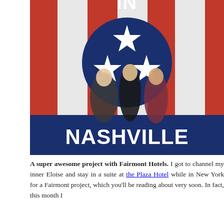[Figure (photo): Three women posing in front of a large Nashville mural with red, white, and blue stripes and a circle with three stars, spelling out NASHVILLE.]
A super awesome project with Fairmont Hotels. I got to channel my inner Eloise and stay in a suite at the Plaza Hotel while in New York for a Fairmont project, which you'll be reading about very soon. In fact, this month I